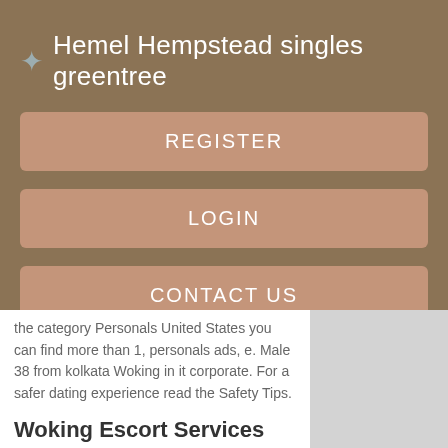Hemel Hempstead singles greentree
REGISTER
LOGIN
CONTACT US
the category Personals United States you can find more than 1, personals ads, e. Male 38 from kolkata Woking in it corporate. For a safer dating experience read the Safety Tips.
Woking Escort Services
Surf Locanto without any third-